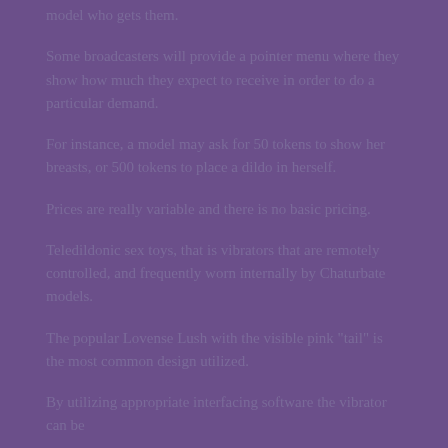model who gets them.
Some broadcasters will provide a pointer menu where they show how much they expect to receive in order to do a particular demand.
For instance, a model may ask for 50 tokens to show her breasts, or 500 tokens to place a dildo in herself.
Prices are really variable and there is no basic pricing.
Teledildonic sex toys, that is vibrators that are remotely controlled, and frequently worn internally by Chaturbate models.
The popular Lovense Lush with the visible pink "tail" is the most common design utilized.
By utilizing appropriate interfacing software the vibrator can be